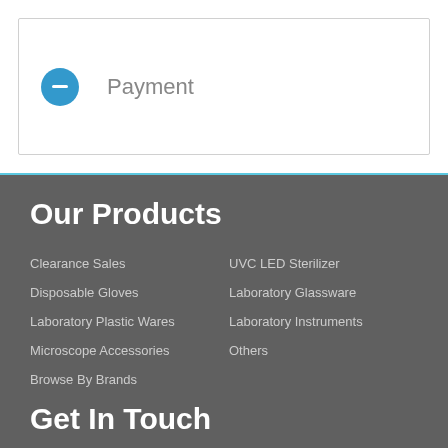Payment
Our Products
Clearance Sales
UVC LED Sterilizer
Disposable Gloves
Laboratory Glassware
Laboratory Plastic Wares
Laboratory Instruments
Microscope Accessories
Others
Browse By Brands
Get In Touch